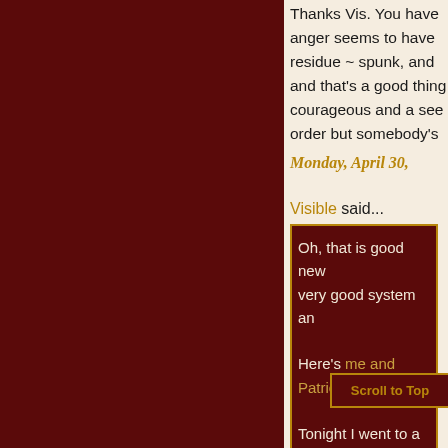Thanks Vis. You have anger seems to have residue ~ spunk, and and that's a good thing courageous and a see order but somebody's
Monday, April 30,
Visible said...
Oh, that is good new very good system and Here's me and Patric Tonight I went to a st the